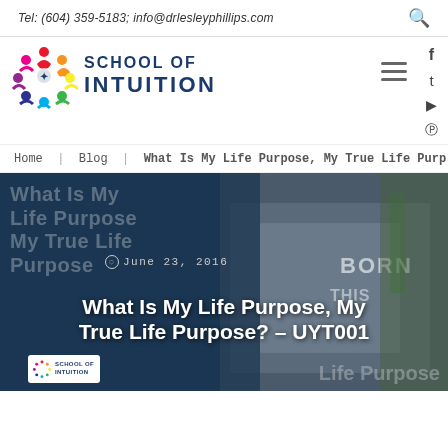Tel: (604) 359-5183; info@drlesleyphillips.com
[Figure (logo): School Of Intuition logo with colorful people figures in a circle and blue text reading SCHOOL OF INTUITION]
Home | Blog | What Is My Life Purpose, My True Life Purp...
[Figure (photo): Hero image showing a person in a denim jacket with BORN text on the back, dark overlay. Text overlay reads: What Is My Life Purpose, My True Life Purpose, June 23, 2016. Large white title: What Is My Life Purpose, My True Life Purpose? – UYT001. Bottom left has School Of Intuition logo badge. Bottom right shows Life Purpose text.]